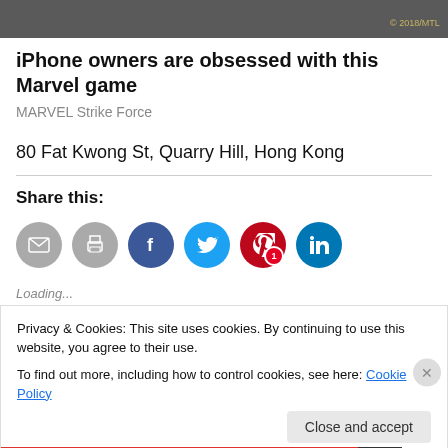[Figure (photo): Dark banner/advertisement image at top of page with text]
iPhone owners are obsessed with this Marvel game
MARVEL Strike Force
80 Fat Kwong St, Quarry Hill, Hong Kong
Share this:
[Figure (infographic): Social sharing icon buttons: email, print, Facebook, Twitter, Pinterest (with badge 1), LinkedIn]
Loading...
Privacy & Cookies: This site uses cookies. By continuing to use this website, you agree to their use.
To find out more, including how to control cookies, see here: Cookie Policy